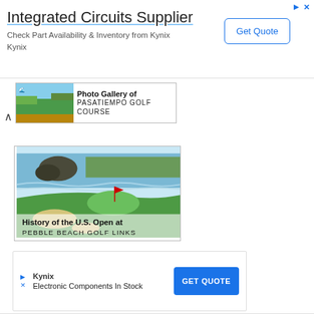Integrated Circuits Supplier
Check Part Availability & Inventory from Kynix
Kynix
[Figure (screenshot): Photo Gallery of Pasatiempo Golf Course thumbnail card with image and text]
[Figure (photo): History of the U.S. Open at Pebble Beach Golf Links image card showing aerial view of coastal golf course]
[Figure (screenshot): Kynix ad banner: Electronic Components In Stock - GET QUOTE button]